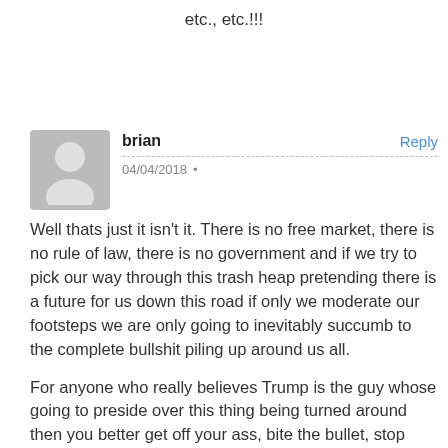etc., etc.!!!
brian
04/04/2018

Well thats just it isn't it. There is no free market, there is no rule of law, there is no government and if we try to pick our way through this trash heap pretending there is a future for us down this road if only we moderate our footsteps we are only going to inevitably succumb to the complete bullshit piling up around us all.

For anyone who really believes Trump is the guy whose going to preside over this thing being turned around then you better get off your ass, bite the bullet, stop supporting the original and start firing up